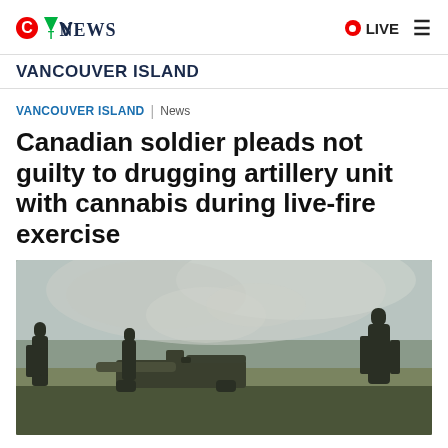CTV NEWS | LIVE ≡
VANCOUVER ISLAND
VANCOUVER ISLAND | News
Canadian soldier pleads not guilty to drugging artillery unit with cannabis during live-fire exercise
[Figure (photo): Military soldiers operating an artillery cannon with smoke and haze in the background during a live-fire exercise.]